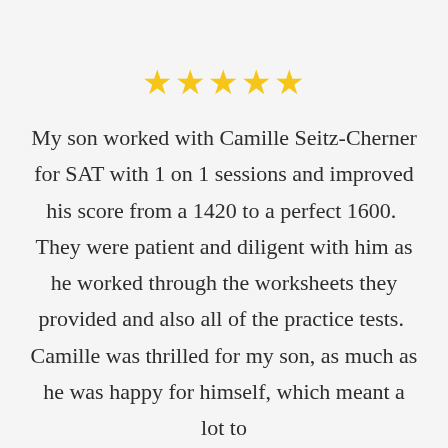[Figure (other): Five gold stars rating]
My son worked with Camille Seitz-Cherner for SAT with 1 on 1 sessions and improved his score from a 1420 to a perfect 1600.  They were patient and diligent with him as he worked through the worksheets they provided and also all of the practice tests.  Camille was thrilled for my son, as much as he was happy for himself, which meant a lot to